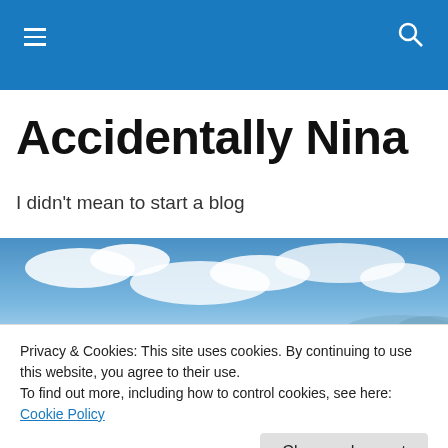Navigation bar with hamburger menu and search icon
Accidentally Nina
I didn't mean to start a blog
[Figure (photo): A person standing on a vast reflective salt flat with blue sky and clouds reflected in the water surface, mountains in the background]
Privacy & Cookies: This site uses cookies. By continuing to use this website, you agree to their use.
To find out more, including how to control cookies, see here: Cookie Policy

Close and accept
They say 'What doesn't kill you makes you stronger'.